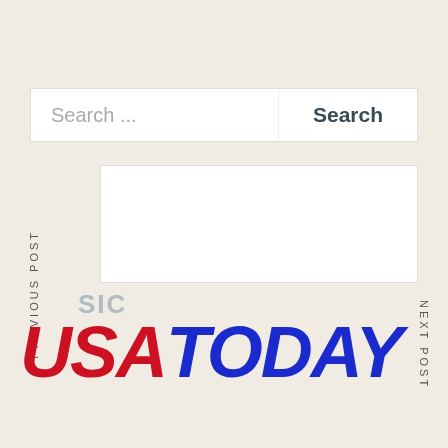[Figure (screenshot): Search bar UI with text input placeholder 'Search ...' and a Search button]
[Figure (screenshot): White content panel in center of page, navigable with 'PREVIOUS POST' on left and 'NEXT POST' on right vertical labels]
SIC
[Figure (logo): USA TODAY logo in red and blue bold italic text]